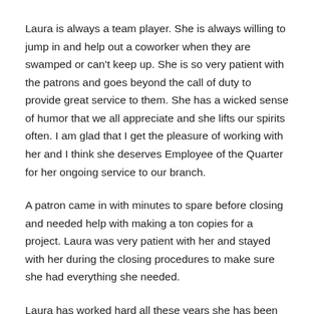Laura is always a team player. She is always willing to jump in and help out a coworker when they are swamped or can't keep up. She is so very patient with the patrons and goes beyond the call of duty to provide great service to them. She has a wicked sense of humor that we all appreciate and she lifts our spirits often. I am glad that I get the pleasure of working with her and I think she deserves Employee of the Quarter for her ongoing service to our branch.
A patron came in with minutes to spare before closing and needed help with making a ton copies for a project. Laura was very patient with her and stayed with her during the closing procedures to make sure she had everything she needed.
Laura has worked hard all these years she has been here. She puts so much effort in her work and always makes me laugh even on the hardest days.
Tamara Brooks